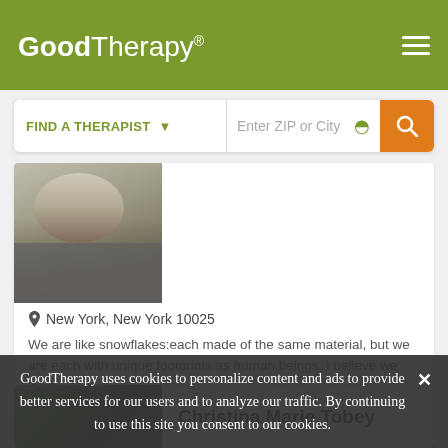GoodTherapy®
FIND A THERAPIST  ▾   Enter ZIP or City
[Figure (photo): Partial photo of a therapist's face/neck in gray clothing]
📍 New York, New York 10025
We are like snowflakes:each made of the same material, but we are each with unique footprints as human beings. I believe we learn habits of behavior very young age designed to cope functionally in a
Email Me
347-801-0716
[Figure (photo): Nature photo showing water/waterfall and greenery]
Christina Marie Tobey
GoodTherapy uses cookies to personalize content and ads to provide better services for our users and to analyze our traffic. By continuing to use this site you consent to our cookies.